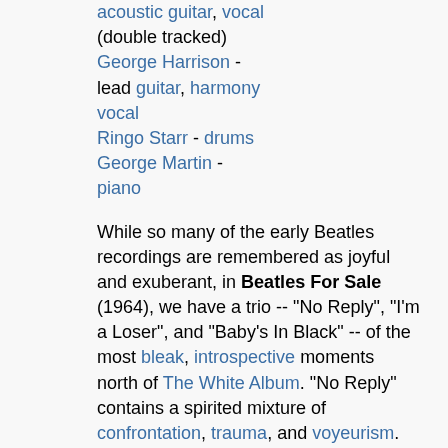acoustic guitar, vocal (double tracked) George Harrison - lead guitar, harmony vocal Ringo Starr - drums George Martin - piano
While so many of the early Beatles recordings are remembered as joyful and exuberant, in Beatles For Sale (1964), we have a trio -- "No Reply", "I'm a Loser", and "Baby's In Black" -- of the most bleak, introspective moments north of The White Album. "No Reply" contains a spirited mixture of confrontation, trauma, and voyeurism. Its power as a song arises from Lennon's restrained ferocity; a spare, focused arrangement consisting of acoustic